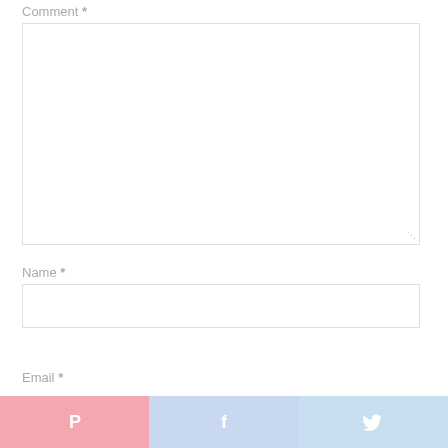Comment *
[Figure (other): Empty comment text area input box with resize handle at bottom right]
Name *
[Figure (other): Empty name text input box]
Email *
[Figure (other): Social share bar with Pinterest (pink), Facebook (light blue), and Twitter (light blue) buttons at bottom of page]